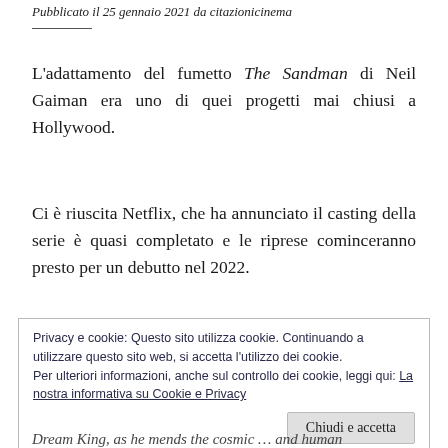Pubblicato il 25 gennaio 2021 da citazionicinema
L'adattamento del fumetto The Sandman di Neil Gaiman era uno di quei progetti mai chiusi a Hollywood.
Ci è riuscita Netflix, che ha annunciato il casting della serie è quasi completato e le riprese cominceranno presto per un debutto nel 2022.
Privacy e cookie: Questo sito utilizza cookie. Continuando a utilizzare questo sito web, si accetta l'utilizzo dei cookie. Per ulteriori informazioni, anche sul controllo dei cookie, leggi qui: La nostra informativa su Cookie e Privacy
Chiudi e accetta
Dream King, as he mends the cosmic … and human